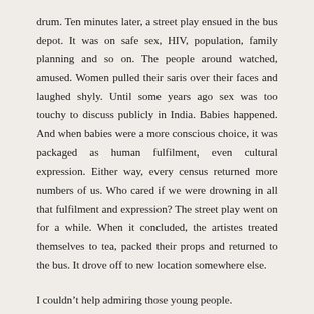drum. Ten minutes later, a street play ensued in the bus depot. It was on safe sex, HIV, population, family planning and so on. The people around watched, amused. Women pulled their saris over their faces and laughed shyly. Until some years ago sex was too touchy to discuss publicly in India. Babies happened. And when babies were a more conscious choice, it was packaged as human fulfilment, even cultural expression. Either way, every census returned more numbers of us. Who cared if we were drowning in all that fulfilment and expression? The street play went on for a while. When it concluded, the artistes treated themselves to tea, packed their props and returned to the bus. It drove off to new location somewhere else.
I couldn't help admiring those young people.
They showed the courage to address something terribly important to India and grossly neglected by everyone from government ministers to common people. I also remember feeling sad – for